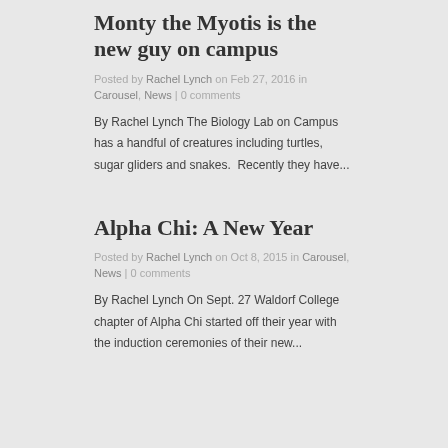Monty the Myotis is the new guy on campus
Posted by Rachel Lynch on Feb 27, 2016 in Carousel, News | 0 comments
By Rachel Lynch The Biology Lab on Campus has a handful of creatures including turtles, sugar gliders and snakes.  Recently they have...
Alpha Chi: A New Year
Posted by Rachel Lynch on Oct 8, 2015 in Carousel, News | 0 comments
By Rachel Lynch On Sept. 27 Waldorf College chapter of Alpha Chi started off their year with the induction ceremonies of their new...